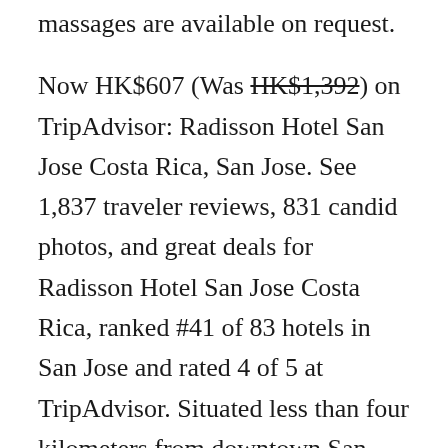massages are available on request.
Now HK$607 (Was HK$1,392) on TripAdvisor: Radisson Hotel San Jose Costa Rica, San Jose. See 1,837 traveler reviews, 831 candid photos, and great deals for Radisson Hotel San Jose Costa Rica, ranked #41 of 83 hotels in San Jose and rated 4 of 5 at TripAdvisor. Situated less than four kilometers from downtown San Jose, Radisson San Jose-Costa Rica offers a great location for romantic getaways, business trips and family vacations. You can wander through San Jose`s various markets or museums, soak in the hot springs at Volcan Arenal or escape to the Gulf of Nicoya, less than a two-hour drive from the